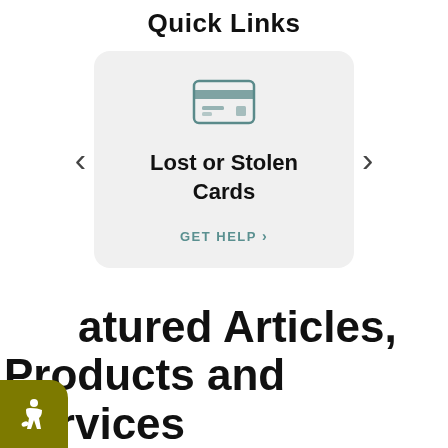Quick Links
[Figure (screenshot): Carousel card showing Lost or Stolen Cards quick link with credit card icon, bold title text, and GET HELP link. Left and right navigation arrows on either side.]
atured Articles, Products and Services